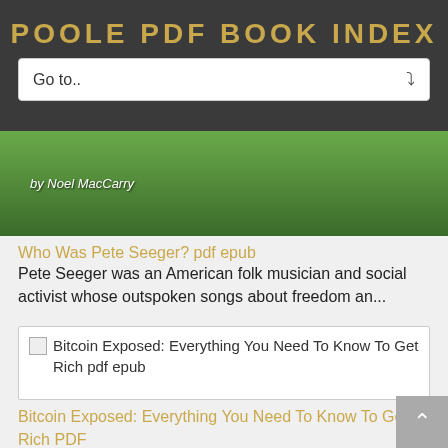POOLE PDF BOOK INDEX
Go to..
[Figure (photo): Book cover image showing a person playing a banjo/ukulele outdoors in green foliage, with text 'by Noel MacCarry']
Who Was Pete Seeger? pdf epub
Pete Seeger was an American folk musician and social activist whose outspoken songs about freedom an...
[Figure (photo): Bitcoin Exposed: Everything You Need To Know To Get Rich pdf epub - broken image placeholder]
Bitcoin Exposed: Everything You Need To Know To Get Rich PDF
You've heard about bit coin - but you didn't miss the boat like you think you did. Bitcoin Exposed c...